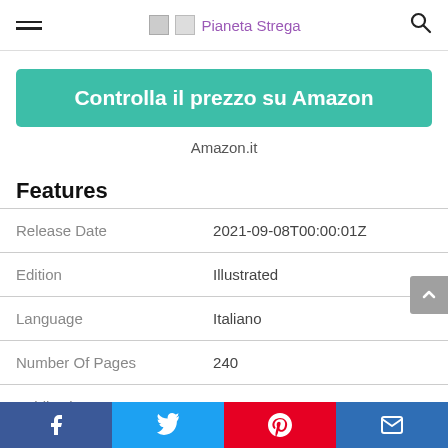Pianeta Strega
Controlla il prezzo su Amazon
Amazon.it
Features
|  |  |
| --- | --- |
| Release Date | 2021-09-08T00:00:01Z |
| Edition | Illustrated |
| Language | Italiano |
| Number Of Pages | 240 |
| Publication Date | 2021-09-08T00:00:01Z |
| Format | Illustrato |
Facebook Twitter Pinterest Email